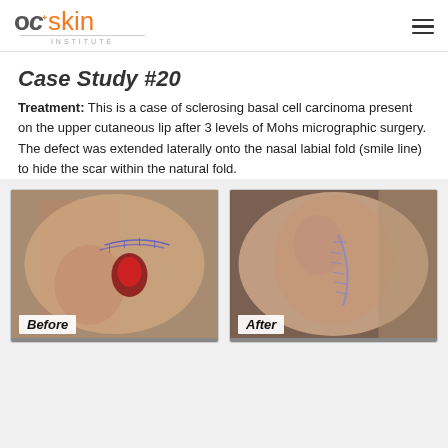OC skin INSTITUTE
Case Study #20
Treatment: This is a case of sclerosing basal cell carcinoma present on the upper cutaneous lip after 3 levels of Mohs micrographic surgery. The defect was extended laterally onto the nasal labial fold (smile line) to hide the scar within the natural fold.
[Figure (photo): Before photo showing a surgical wound on the upper lip/nasal labial fold area with sutures and a visible open wound with blue markings]
[Figure (photo): After photo showing the same area post-surgery with sutured incision along the nasal labial fold]